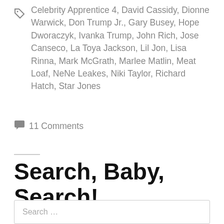Celebrity Apprentice 4, David Cassidy, Dionne Warwick, Don Trump Jr., Gary Busey, Hope Dworaczyk, Ivanka Trump, John Rich, Jose Canseco, La Toya Jackson, Lil Jon, Lisa Rinna, Mark McGrath, Marlee Matlin, Meat Loaf, NeNe Leakes, Niki Taylor, Richard Hatch, Star Jones
11 Comments
Search, Baby, Search!
Search …